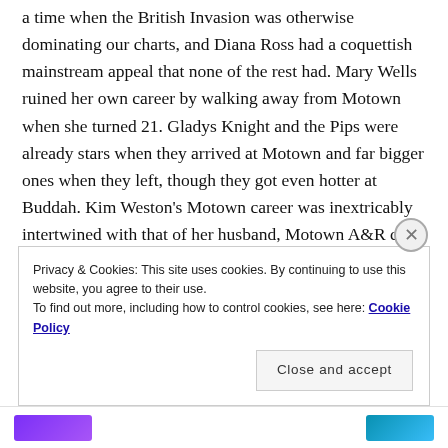a time when the British Invasion was otherwise dominating our charts, and Diana Ross had a coquettish mainstream appeal that none of the rest had. Mary Wells ruined her own career by walking away from Motown when she turned 21. Gladys Knight and the Pips were already stars when they arrived at Motown and far bigger ones when they left, though they got even hotter at Buddah. Kim Weston's Motown career was inextricably intertwined with that of her husband, Motown A&R chief Mickey Stevenson, for both better and worse.  And Martha Reeves and her Vandellas had a series of incredible hits, much like the
Privacy & Cookies: This site uses cookies. By continuing to use this website, you agree to their use.
To find out more, including how to control cookies, see here: Cookie Policy
Close and accept